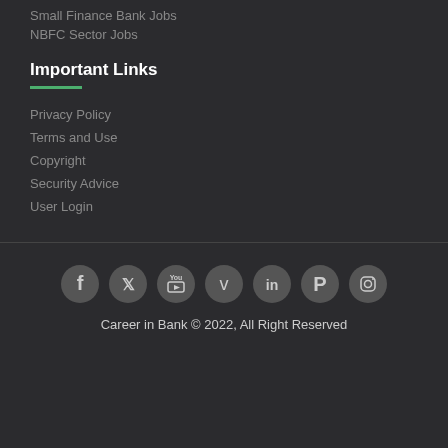Small Finance Bank Jobs
NBFC Sector Jobs
Important Links
Privacy Policy
Terms and Use
Copyright
Security Advice
User Login
[Figure (infographic): Row of social media icons: Facebook, Twitter, YouTube, Vimeo, LinkedIn, Pinterest, Instagram]
Career in Bank © 2022, All Right Reserved